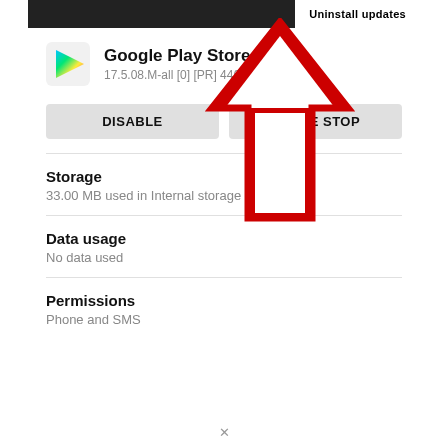[Figure (screenshot): Android app info screen for Google Play Store showing app name, version 17.5.08.M-all [0] [PR] 44616, DISABLE and FORCE STOP buttons, Storage section showing 33.00 MB used in Internal storage, Data usage section showing No data used, Permissions section showing Phone and SMS. A large red upward-pointing arrow annotation overlays the top portion of the screen.]